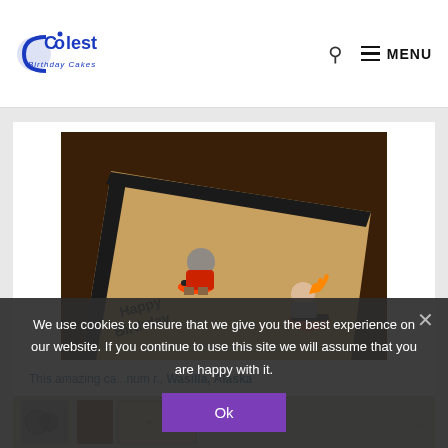Coolest Birthday Cakes — MENU
[Figure (photo): A birthday cake shaped like a skateboard half-pipe ramp, decorated with two figurines riding skateboards, with dark frosting trim and text piped on the ramp surface. Watermark reads www.coolest-birthday-cakes.com]
This amazing ca... num r., Wasilla, Alaska
We use cookies to ensure that we give you the best experience on our website. If you continue to use this site we will assume that you are happy with it.